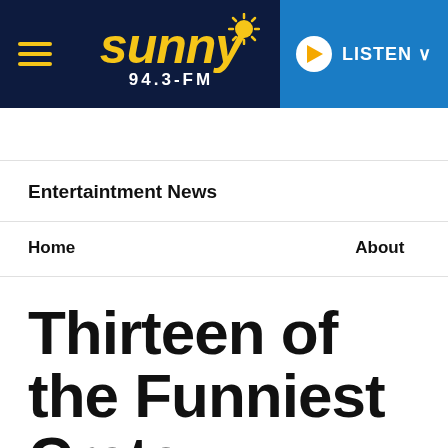[Figure (logo): Sunny 94.3-FM radio station website header with dark navy background, yellow hamburger menu icon on left, Sunny 94.3-FM logo in center with yellow italic text and sun graphic, and blue LISTEN button with play icon on right]
Entertaintment News
Home    About
Thirteen of the Funniest Crate